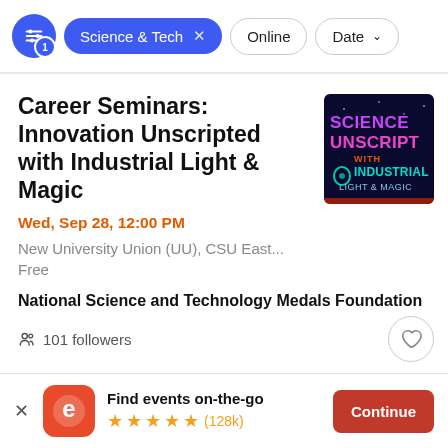Science & Tech  x    Online    Date
Career Seminars: Innovation Unscripted with Industrial Light & Magic
Wed, Sep 28, 12:00 PM
New University Union (UU), CSU East...
Free
[Figure (photo): Science Unscripted with Industrial Light & Magic event thumbnail image with colorful neon text on dark background]
National Science and Technology Medals Foundation
101 followers
Find events on-the-go ★★★★★ (128k)
Continue